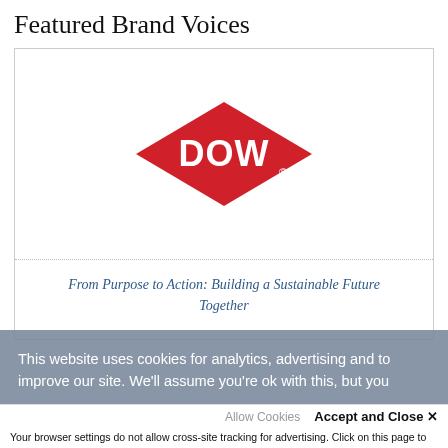Featured Brand Voices
[Figure (logo): Dow logo — red diamond shape with white 'DOW' text and registered trademark symbol]
From Purpose to Action: Building a Sustainable Future Together
This website uses cookies for analytics, advertising and to improve our site. We'll assume you're ok with this, but you
Allow Cookies    Accept and Close ✕
Your browser settings do not allow cross-site tracking for advertising. Click on this page to allow AdRoll to use cross-site tracking to tailor ads to you. Learn more or opt out of this AdRoll tracking by clicking here. This message only appears once.